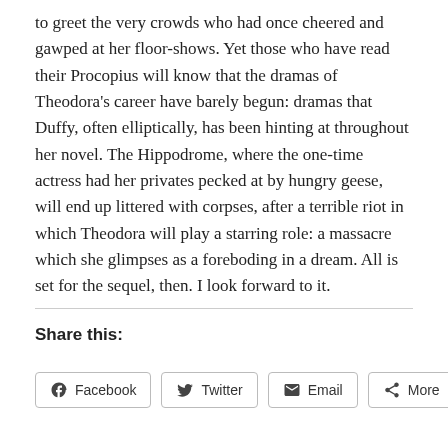to greet the very crowds who had once cheered and gawped at her floor-shows. Yet those who have read their Procopius will know that the dramas of Theodora's career have barely begun: dramas that Duffy, often elliptically, has been hinting at throughout her novel. The Hippodrome, where the one-time actress had her privates pecked at by hungry geese, will end up littered with corpses, after a terrible riot in which Theodora will play a starring role: a massacre which she glimpses as a foreboding in a dream. All is set for the sequel, then. I look forward to it.
Share this:
Facebook
Twitter
Email
More